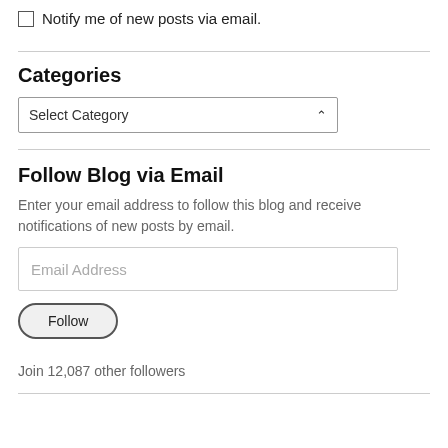Notify me of new posts via email.
Categories
[Figure (other): Select Category dropdown widget]
Follow Blog via Email
Enter your email address to follow this blog and receive notifications of new posts by email.
[Figure (other): Email Address input field]
[Figure (other): Follow button]
Join 12,087 other followers